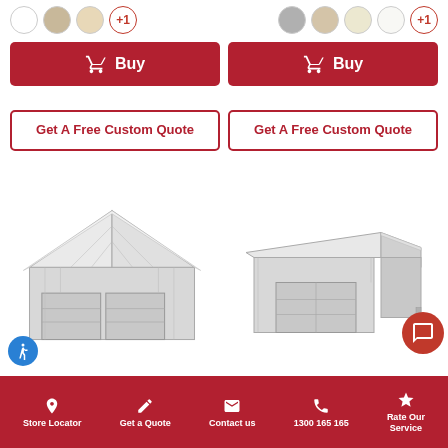[Figure (other): Two groups of color swatches (circles) for product color selection. Left group: white, tan, cream, +1. Right group: gray, tan, cream, white, +1.]
[Figure (other): Two red 'Buy' buttons with shopping cart icons side by side]
[Figure (other): Two 'Get A Free Custom Quote' buttons with red border side by side]
[Figure (illustration): 3D illustration of a double-door gable roof garage in light gray]
[Figure (illustration): 3D illustration of a garage with lean-to/skillion roof extension in light gray, with chat button overlay]
Store Locator   Get a Quote   Contact us   1300 165 165   Rate Our Service